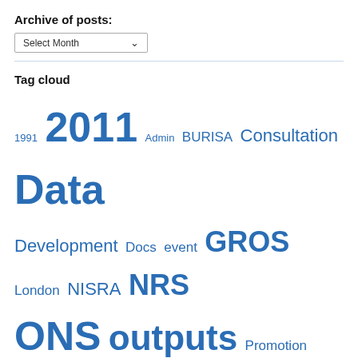Archive of posts:
Select Month
Tag cloud
1991 2011 Admin BURISA Consultation Data Development Docs event GROS London NISRA NRS ONS outputs Promotion Training UK Uncategorized
RSS Feed
RSS - Posts